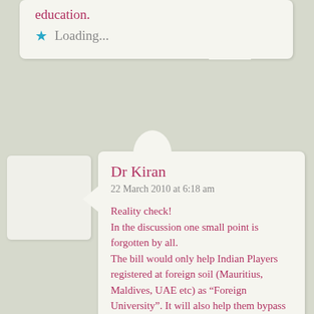education.
Loading...
Dr Kiran
22 March 2010 at 6:18 am
Reality check!
In the discussion one small point is forgotten by all.
The bill would only help Indian Players registered at foreign soil (Mauritius, Maldives, UAE etc) as “Foreign University”. It will also help them bypass the present restrictions, in the name of being “foreign”